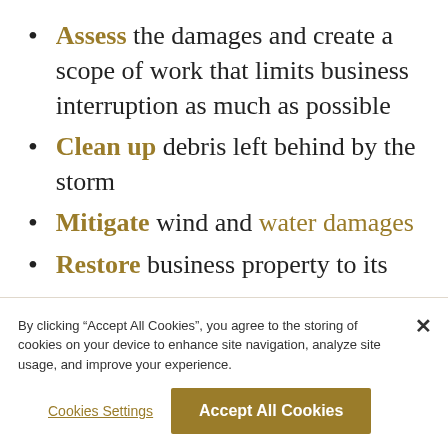Assess the damages and create a scope of work that limits business interruption as much as possible
Clean up debris left behind by the storm
Mitigate wind and water damages
Restore business property to its [pre-loss condition]
By clicking “Accept All Cookies”, you agree to the storing of cookies on your device to enhance site navigation, analyze site usage, and improve your experience.
Cookies Settings
Accept All Cookies